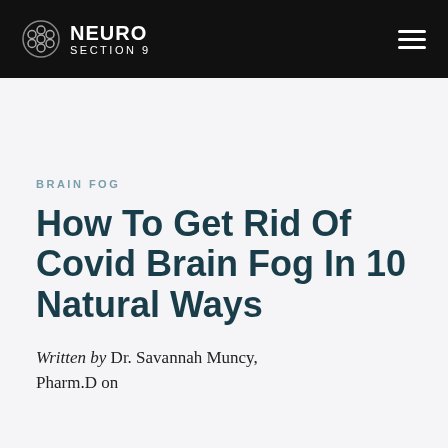NEURO SECTION 9
BRAIN FOG
How To Get Rid Of Covid Brain Fog In 10 Natural Ways
Written by Dr. Savannah Muncy, Pharm.D on